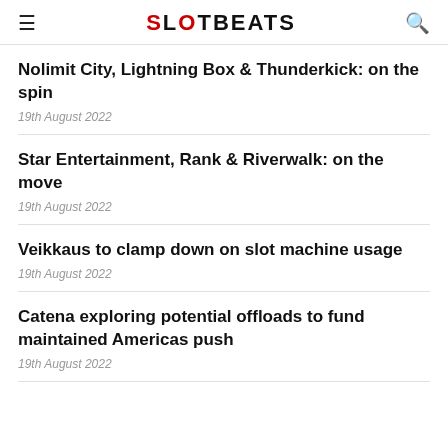SLOTBEATS
Nolimit City, Lightning Box & Thunderkick: on the spin
19th August 2022
Star Entertainment, Rank & Riverwalk: on the move
19th August 2022
Veikkaus to clamp down on slot machine usage
19th August 2022
Catena exploring potential offloads to fund maintained Americas push
19th August 2022